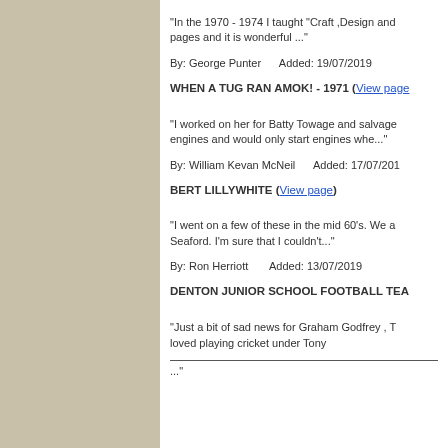"In the 1970 - 1974 I taught “Craft ,Design and pages and it is wonderful ..."
By: George Punter      Added: 19/07/2019
WHEN A TUG RAN AMOK! - 1971 (View page)
"I worked on her for Batty Towage and salvage engines and would only start engines whe..."
By: William Kevan McNeil      Added: 17/07/201
BERT LILLYWHITE (View page)
"I went on a few of these in the mid 60's. We a Seaford. I'm sure that I couldn't..."
By: Ron Herriott       Added: 13/07/2019
DENTON JUNIOR SCHOOL FOOTBALL TEA
"Just a bit of sad news for Graham Godfrey , T loved playing cricket under Tony
..."